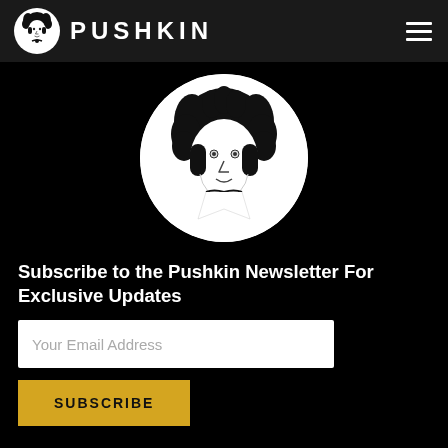PUSHKIN
[Figure (logo): Pushkin logo: circular badge with illustrated portrait of a curly-haired figure in a white circle, and PUSHKIN text in white capital letters on dark background header]
[Figure (illustration): Large circular illustration of Pushkin portrait — black curly hair, stylized line-art face, bow tie, on white background circle against black page]
Subscribe to the Pushkin Newsletter For Exclusive Updates
Your Email Address
SUBSCRIBE
Jobs
Privacy Policy